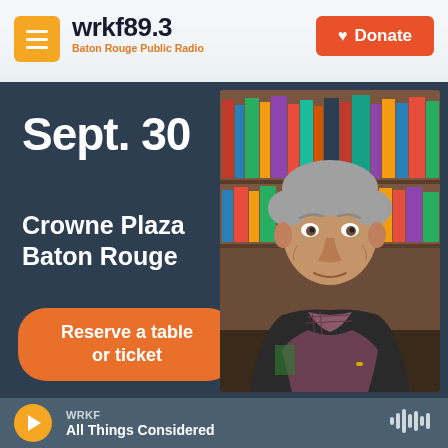wrkf89.3 Baton Rouge Public Radio
Sept. 30
Crowne Plaza Baton Rouge
Reserve a table or ticket
[Figure (photo): Portrait photo of older man with grey hair, wearing dark jacket and plaid shirt, seated with arms crossed, bookshelf visible in background]
WRKF All Things Considered